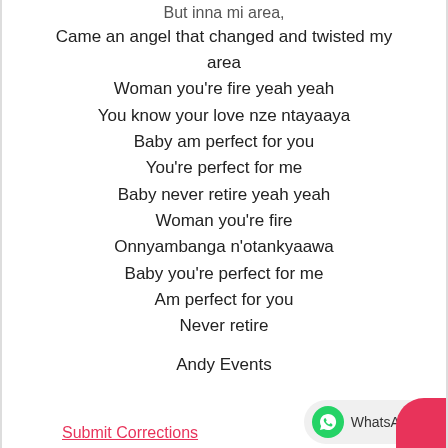But inna mi area,
Came an angel that changed and twisted my area
Woman you're fire yeah yeah
You know your love nze ntayaaya
Baby am perfect for you
You're perfect for me
Baby never retire yeah yeah
Woman you're fire
Onnyambanga n'otankyaawa
Baby you're perfect for me
Am perfect for you
Never retire
Andy Events
Submit Corrections
WhatsApp us